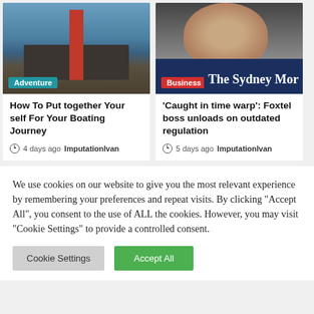[Figure (photo): Aerial view from the bow of a sailing boat on blue water, with a red mast. Category badge 'Adventure' shown in teal.]
How To Put together Your self For Your Boating Journey
4 days ago   ImputationIvan
[Figure (photo): Man in suit holding or near a Sydney Morning Herald newspaper. Category badge 'Business' shown in red.]
'Caught in time warp': Foxtel boss unloads on outdated regulation
5 days ago   ImputationIvan
We use cookies on our website to give you the most relevant experience by remembering your preferences and repeat visits. By clicking "Accept All", you consent to the use of ALL the cookies. However, you may visit "Cookie Settings" to provide a controlled consent.
Cookie Settings
Accept All